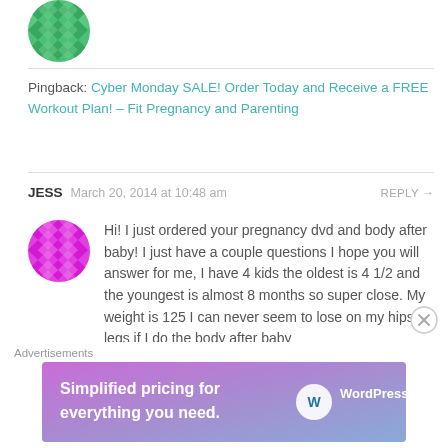[Figure (illustration): Green decorative avatar icon (top, partially visible)]
Pingback: Cyber Monday SALE! Order Today and Receive a FREE Workout Plan! – Fit Pregnancy and Parenting
JESS  March 20, 2014 at 10:48 am  REPLY →
[Figure (illustration): Pink/magenta decorative avatar icon for commenter Jess]
Hi! I just ordered your pregnancy dvd and body after baby! I just have a couple questions I hope you will answer for me, I have 4 kids the oldest is 4 1/2 and the youngest is almost 8 months so super close. My weight is 125 I can never seem to lose on my hips or legs if I do the body after baby
Advertisements
[Figure (screenshot): WordPress.com advertisement banner: 'Simplified pricing for everything you need.']